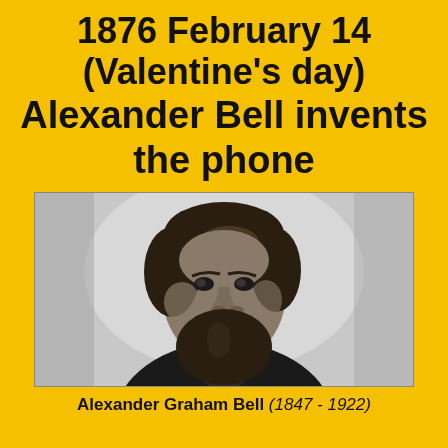1876 February 14 (Valentine's day) Alexander Bell invents the phone
[Figure (photo): Black and white portrait photograph of Alexander Graham Bell, a bearded man in dark clothing, facing slightly left.]
Alexander Graham Bell (1847 - 1922)